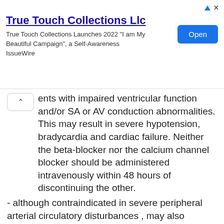[Figure (other): Advertisement banner for True Touch Collections Llc with title, description text, and Open button]
ents with impaired ventricular function and/or SA or AV conduction abnormalities. This may result in severe hypotension, bradycardia and cardiac failure. Neither the beta-blocker nor the calcium channel blocker should be administered intravenously within 48 hours of discontinuing the other.
- although contraindicated in severe peripheral arterial circulatory disturbances , may also aggravate less severe peripheral arterial circulatory disturbances.
- due to its negative effect on conduction time, caution must be exercised if it is given to patients